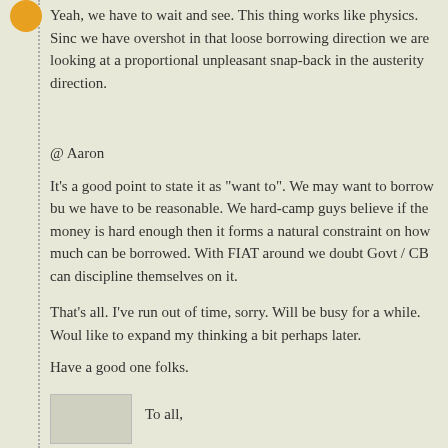Yeah, we have to wait and see. This thing works like physics. Since we have overshot in that loose borrowing direction we are looking at a proportional unpleasant snap-back in the austerity direction.
@ Aaron
It's a good point to state it as "want to". We may want to borrow but we have to be reasonable. We hard-camp guys believe if the money is hard enough then it forms a natural constraint on how much can be borrowed. With FIAT around we doubt Govt / CB can discipline themselves on it.
That's all. I've run out of time, sorry. Will be busy for a while. Would like to expand my thinking a bit perhaps later.
Have a good one folks.
May 14, 2011 at 9:21 PM
Wendy said...
To all,